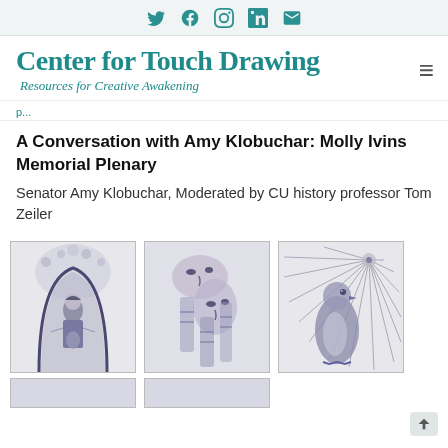Social icons: Twitter, Facebook, Instagram, LinkedIn, Email
Center for Touch Drawing
Resources for Creative Awakening
A Conversation with Amy Klobuchar: Molly Ivins Memorial Plenary
Senator Amy Klobuchar, Moderated by CU history professor Tom Zeiler
[Figure (illustration): Touch drawing artwork: figure in archway, spiritual imagery, dark blue ink on white]
[Figure (illustration): Touch drawing artwork: abstract faces and forms, dark blue ink on white]
[Figure (illustration): Touch drawing artwork: bird with radiating lines, dark blue ink on white]